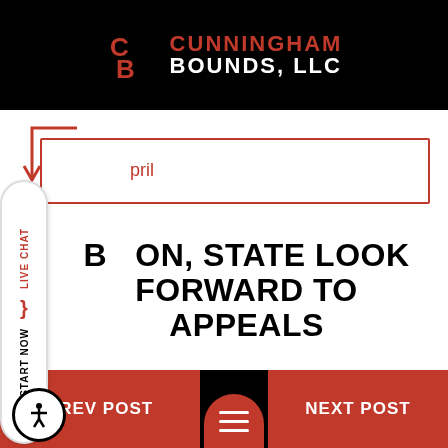[Figure (logo): Cunningham Bounds, LLC logo with CB monogram on black background]
April
BOTH SIDES IN EXXON, STATE LOOK FORWARD TO APPEALS
April 18, 2001
PREV POST
NEXT POST